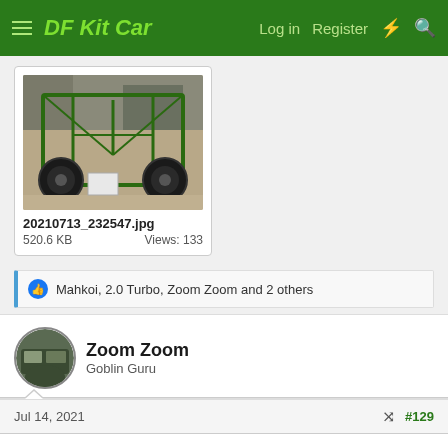DF Kit Car — Log in  Register
[Figure (photo): Photo of a green tubular frame kit car chassis with wheels, viewed from the front, in a workshop/garage setting. Filename: 20210713_232547.jpg, 520.6 KB, Views: 133]
20210713_232547.jpg
520.6 KB  Views: 133
Mahkoi, 2.0 Turbo, Zoom Zoom and 2 others
Zoom Zoom
Goblin Guru
Jul 14, 2021
#129
This site uses cookies to help personalise content, tailor your experience and to keep you logged in if you register.
By continuing to use this site, you are consenting to our use of cookies.